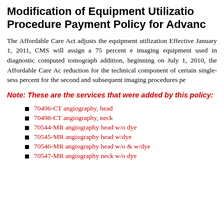Modification of Equipment Utilization Procedure Payment Policy for Advanced Imaging
The Affordable Care Act adjusts the equipment utilization assumption. Effective January 1, 2011, CMS will assign a 75 percent equipment utilization rate for imaging equipment used in diagnostic computed tomography services. In addition, beginning on July 1, 2010, the Affordable Care Act provides a 25 percent reduction for the technical component of certain single-session imaging: 50 percent for the second and subsequent imaging procedures per session.
Note: These are the services that were added by this policy:
70496-CT angiography, head
70498-CT angiography, neck
70544-MR angiography head w/o dye
70545-MR angiography head w/dye
70546-MR angiography head w/o & w/dye
70547-MR angiography neck w/o dye